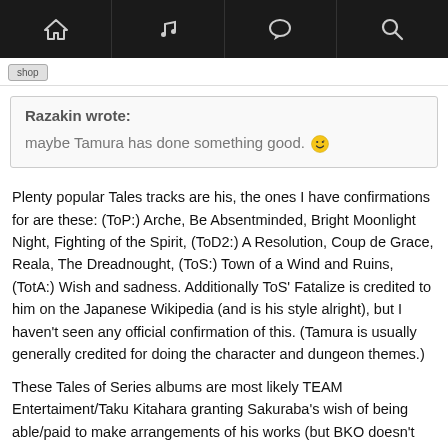[nav bar with home, music, chat, search icons]
[Figure (screenshot): Navigation bar with home, music note, chat bubble, and search icons on dark background]
Razakin wrote: maybe Tamura has done something good. 😉
Plenty popular Tales tracks are his, the ones I have confirmations for are these: (ToP:) Arche, Be Absentminded, Bright Moonlight Night, Fighting of the Spirit, (ToD2:) A Resolution, Coup de Grace, Reala, The Dreadnought, (ToS:) Town of a Wind and Ruins, (TotA:) Wish and sadness. Additionally ToS' Fatalize is credited to him on the Japanese Wikipedia (and is his style alright), but I haven't seen any official confirmation of this. (Tamura is usually generally credited for doing the character and dungeon themes.)
These Tales of Series albums are most likely TEAM Entertaiment/Taku Kitahara granting Sakuraba's wish of being able/paid to make arrangements of his works (but BKO doesn't get this treatment, probably wouldn't be profitable for TEAM